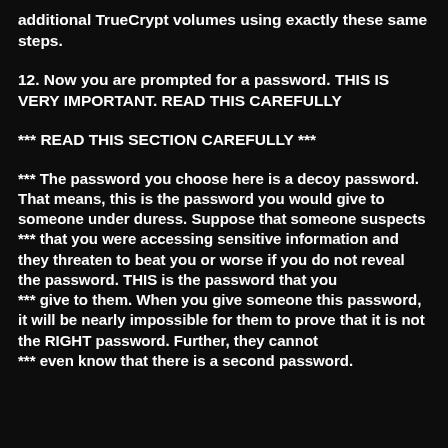additional TrueCrypt volumes using exactly these same steps.
12. Now you are prompted for a password. THIS IS VERY IMPORTANT. READ THIS CAREFULLY
*** READ THIS SECTION CAREFULLY ***
*** The password you choose here is a decoy password. That means, this is the password you would give to someone under duress. Suppose that someone suspects
*** that you were accessing sensitive information and they threaten to beat you or worse if you do not reveal the password. THIS is the password that you
*** give to them. When you give someone this password, it will be nearly impossible for them to prove that it is not the RIGHT password. Further, they cannot
*** even know that there is a second password.